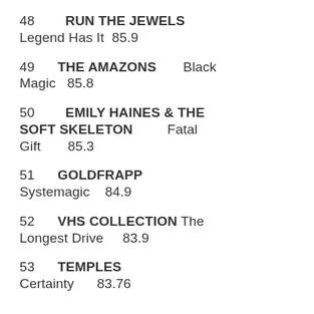48 RUN THE JEWELS Legend Has It 85.9
49 THE AMAZONS Black Magic 85.8
50 EMILY HAINES & THE SOFT SKELETON Fatal Gift 85.3
51 GOLDFRAPP Systemagic 84.9
52 VHS COLLECTION The Longest Drive 83.9
53 TEMPLES Certainty 83.76